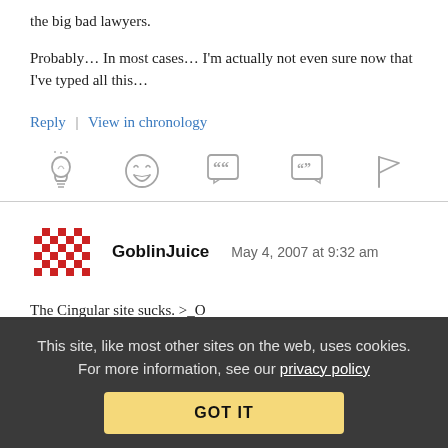the big bad lawyers.
Probably… In most cases… I'm actually not even sure now that I've typed all this…
Reply | View in chronology
[Figure (infographic): Row of 5 icon buttons: lightbulb, laughing emoji, open-quote speech bubble, quote speech bubble, flag]
[Figure (illustration): Red pixel-art avatar icon for GoblinJuice]
GoblinJuice   May 4, 2007 at 9:32 am
The Cingular site sucks. >_O
This site, like most other sites on the web, uses cookies. For more information, see our privacy policy
GOT IT